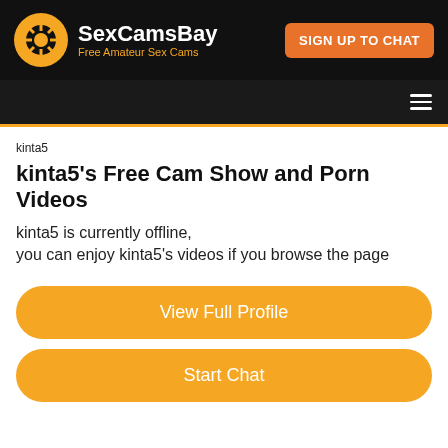[Figure (logo): SexCamsBay logo with orange camera aperture icon, white site name and orange tagline 'Free Amateur Sex Cams' on black background, with orange 'SIGN UP TO CHAT' button]
kinta5
kinta5's Free Cam Show and Porn Videos
kinta5 is currently offline,
you can enjoy kinta5's videos if you browse the page
View Full Profile
Start Chat